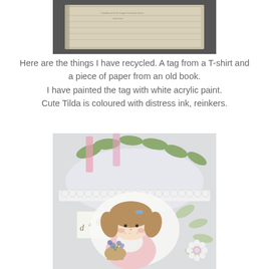[Figure (photo): Photograph of a tag from a T-shirt and a piece of paper from an old book, shown against a dark background. The items appear cream/beige colored with some text visible.]
Here are the things I have recycled. A tag from a T-shirt and a piece of paper from an old book.
I have painted the tag with white acrylic paint.
Cute Tilda is coloured with distress ink, reinkers.
[Figure (photo): Close-up photograph of a handmade craft project featuring a Tilda stamp image of a cute girl holding a flower pot, surrounded by lace, leaves, and floral embellishments. The girl has brown pigtails and is wearing a pink dress. There are green leaf die-cuts, white lace, and a daisy flower around her. A tag with the letters 'd a g' is visible in the lower left corner.]